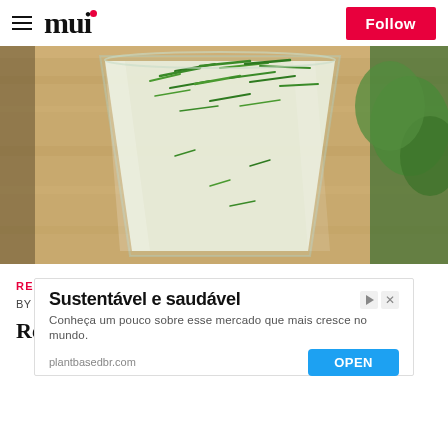mui   Follow
[Figure (photo): A glass tumbler filled with a creamy white drink topped with chopped fresh green herbs (rosemary or dill), placed on a wooden surface with green plants in the background.]
RECIPES
BY  DANIEL PIRE- 29/01/2021 · 17:16 HS
Refresh your afternoon with a glass of
[Figure (infographic): Advertisement overlay: 'Sustentável e saudável' — Conheça um pouco sobre esse mercado que mais cresce no mundo. plantbasedbr.com  [OPEN button]]